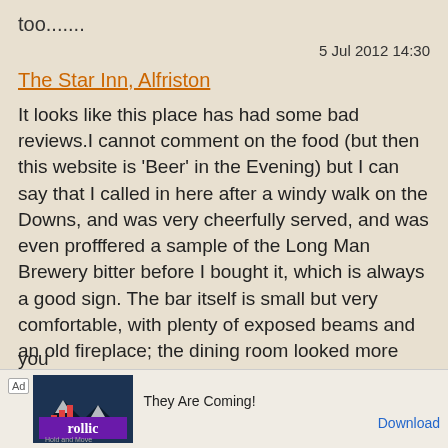too.......
5 Jul 2012 14:30
The Star Inn, Alfriston
It looks like this place has had some bad reviews.I cannot comment on the food (but then this website is 'Beer' in the Evening) but I can say that I called in here after a windy walk on the Downs, and was very cheerfully served, and was even profffered a sample of the Long Man Brewery bitter before I bought it, which is always a good sign. The bar itself is small but very comfortable, with plenty of exposed beams and an old fireplace; the dining room looked more formal. I had my walking gear and (clean) boots on, but did not feel out of place or unwelcome despite the upmarket surroundings. What with The George opposite and the Smugglers down the road, one is spoilt for choice in Alfriston...but if you
[Figure (screenshot): Advertisement banner for Rollic game 'They Are Coming!' with game imagery and Download button]